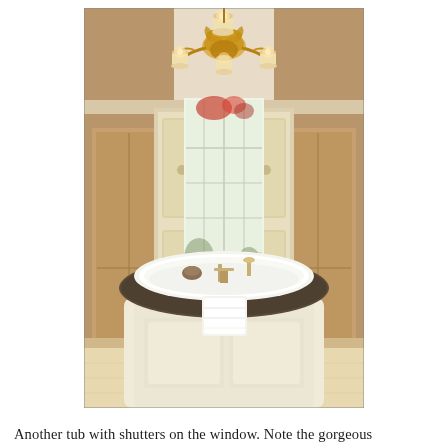[Figure (photo): Interior photograph of a luxury bathroom featuring a large oval soaking tub set into a raised platform with cream-colored cabinetry and a dark granite surround. A white towel hangs over the front edge of the tub. Behind the tub is a tall multi-pane window flanked by wooden shutters/cabinets in a warm tan finish. An ornate gold chandelier with multiple candle-style lights hangs from the ceiling above the tub. Decorative items are placed on the tub surround near the window.]
Another tub with shutters on the window.  Note the gorgeous